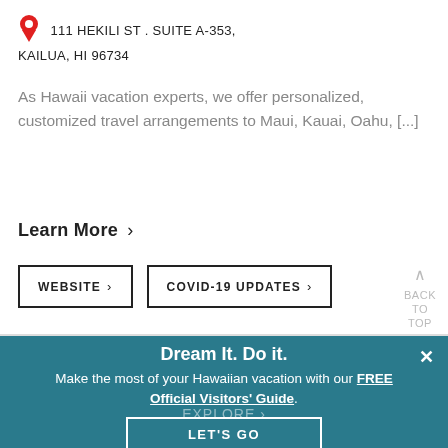111 HEKILI ST . SUITE A-353, KAILUA, HI 96734
As Hawaii vacation experts, we offer personalized, customized travel arrangements to Maui, Kauai, Oahu, [...]
Learn More ›
WEBSITE ›
COVID-19 UPDATES ›
BACK TO TOP
More Things to Do on Lanai ›
Dream It. Do it.
Make the most of your Hawaiian vacation with our FREE Official Visitors' Guide.
LET'S GO